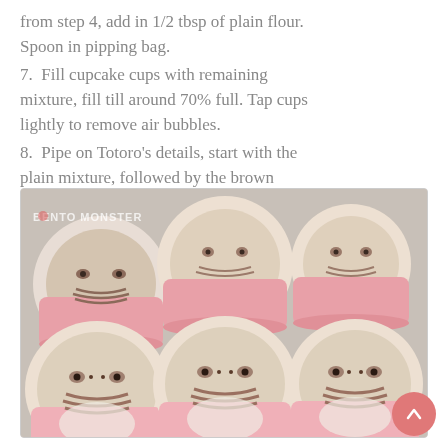from step 4, add in 1/2 tbsp of plain flour. Spoon in pipping bag.
7.  Fill cupcake cups with remaining mixture, fill till around 70% full. Tap cups lightly to remove air bubbles.
8.  Pipe on Totoro's details, start with the plain mixture, followed by the brown mixture.
[Figure (photo): Six cupcake cups filled with Totoro-face batter showing eyes and whisker patterns in brown and cream, arranged on a baking tray. Watermark reads BENTO MONSTER.]